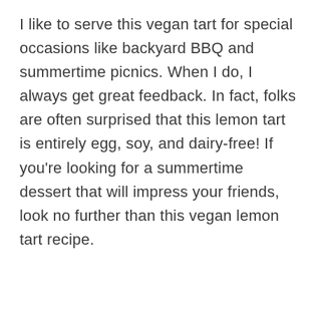I like to serve this vegan tart for special occasions like backyard BBQ and summertime picnics. When I do, I always get great feedback. In fact, folks are often surprised that this lemon tart is entirely egg, soy, and dairy-free! If you're looking for a summertime dessert that will impress your friends, look no further than this vegan lemon tart recipe.